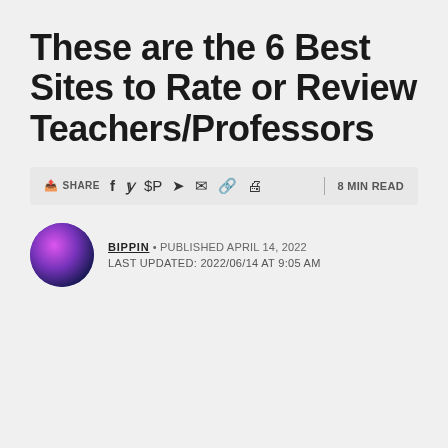These are the 6 Best Sites to Rate or Review Teachers/Professors
SHARE  [social icons]  8 MIN READ
BIPPIN • PUBLISHED APRIL 14, 2022
LAST UPDATED: 2022/06/14 AT 9:05 AM